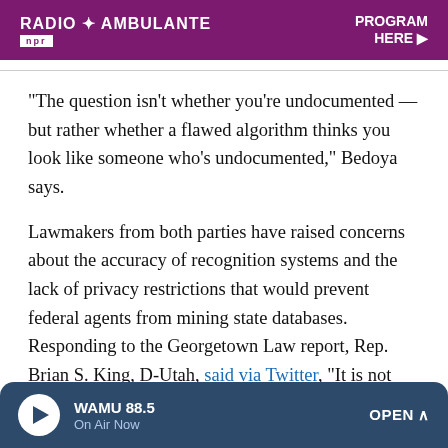[Figure (other): Radio Ambulante NPR banner advertisement in dark purple/maroon color with show title and 'PROGRAM HERE' call to action with cursor icon]
"The question isn't whether you're undocumented — but rather whether a flawed algorithm thinks you look like someone who's undocumented," Bedoya says.
Lawmakers from both parties have raised concerns about the accuracy of recognition systems and the lack of privacy restrictions that would prevent federal agents from mining state databases. Responding to the Georgetown Law report, Rep. Brian S. King, D-Utah, said via Twitter, "It is not OK that the Utah state DMV officials turned over data to ICE to help set up a surveillance system."
WAMU 88.5 | On Air Now | OPEN